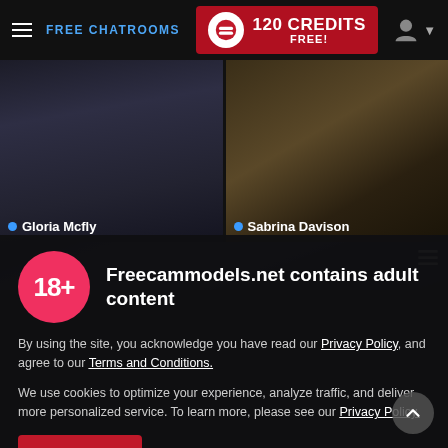FREE CHATROOMS | 120 CREDITS FREE!
[Figure (screenshot): Thumbnail of Gloria Mcfly webcam stream — dark background, person in jeans]
[Figure (screenshot): Thumbnail of Sabrina Davison webcam stream — person on bed with lamps in background]
[Figure (screenshot): Partial third row of webcam thumbnails with list icon]
Freecammodels.net contains adult content
By using the site, you acknowledge you have read our Privacy Policy, and agree to our Terms and Conditions.
We use cookies to optimize your experience, analyze traffic, and deliver more personalized service. To learn more, please see our Privacy Policy.
I AGREE